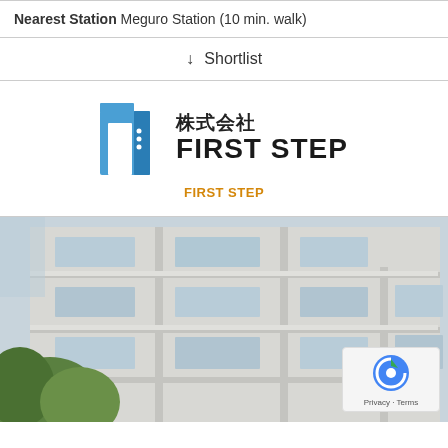Nearest Station Meguro Station (10 min. walk)
↓ Shortlist
[Figure (logo): 株式会社 FIRST STEP company logo with blue stylized door/building icon]
FIRST STEP
[Figure (photo): Exterior photo of a modern multi-storey concrete residential apartment building with balconies and green trees in foreground]